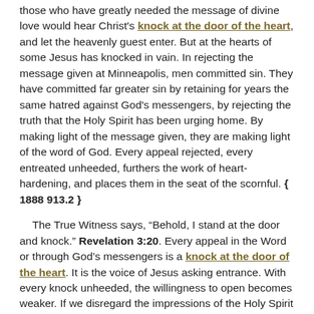those who have greatly needed the message of divine love would hear Christ's knock at the door of the heart, and let the heavenly guest enter. But at the hearts of some Jesus has knocked in vain. In rejecting the message given at Minneapolis, men committed sin. They have committed far greater sin by retaining for years the same hatred against God's messengers, by rejecting the truth that the Holy Spirit has been urging home. By making light of the message given, they are making light of the word of God. Every appeal rejected, every entreated unheeded, furthers the work of heart-hardening, and places them in the seat of the scornful. { 1888 913.2 }
The True Witness says, “Behold, I stand at the door and knock.” Revelation 3:20. Every appeal in the Word or through God’s messengers is a knock at the door of the heart. It is the voice of Jesus asking entrance. With every knock unheeded, the willingness to open becomes weaker. If we disregard the impressions of the Holy Spirit today, they will not be as strong tomorrow. The heart becomes less impressible, and it lapses into a dangerous lack of awareness of how short life is and of eternity beyond. Condemnation in the judgment will not result from the fact that we have been in error, but from the fact that we have